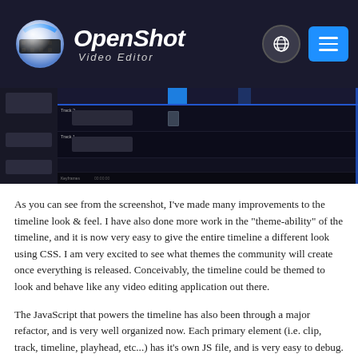OpenShot Video Editor
[Figure (screenshot): Screenshot of OpenShot video editor timeline interface showing multiple tracks with clips and a playhead]
As you can see from the screenshot, I've made many improvements to the timeline look & feel. I have also done more work in the "theme-ability" of the timeline, and it is now very easy to give the entire timeline a different look using CSS. I am very excited to see what themes the community will create once everything is released. Conceivably, the timeline could be themed to look and behave like any video editing application out there.
The JavaScript that powers the timeline has also been through a major refactor, and is very well organized now. Each primary element (i.e. clip, track, timeline, playhead, etc...) has it's own JS file, and is very easy to debug. I have also added in a debug panel, for